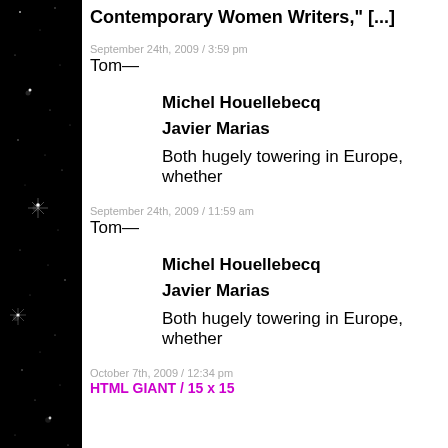Contemporary Women Writers," [...]
September 24th, 2009 / 3:59 pm
Tom—
Michel Houellebecq
Javier Marias
Both hugely towering in Europe, whether
September 24th, 2009 / 11:59 am
Tom—
Michel Houellebecq
Javier Marias
Both hugely towering in Europe, whether
October 7th, 2009 / 12:34 pm
HTML GIANT / 15 x 15